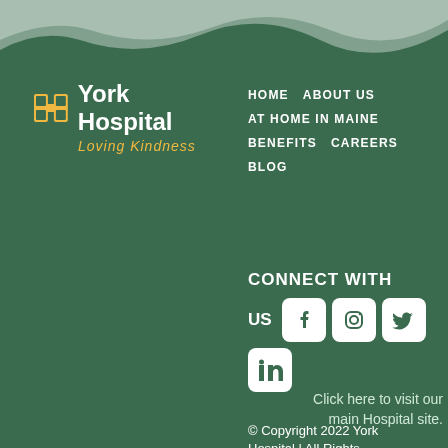[Figure (logo): York Hospital logo with white icon and text, tagline 'Loving Kindness' in gold cursive]
HOME
ABOUT US
AT HOME IN MAINE
BENEFITS
CAREERS
BLOG
CONNECT WITH US
[Figure (illustration): Social media icons: Facebook, Instagram, Twitter, LinkedIn on white rounded square backgrounds]
Click here to visit our main Hospital site.
© Copyright 2022 York Hospital | All Rights Reserved